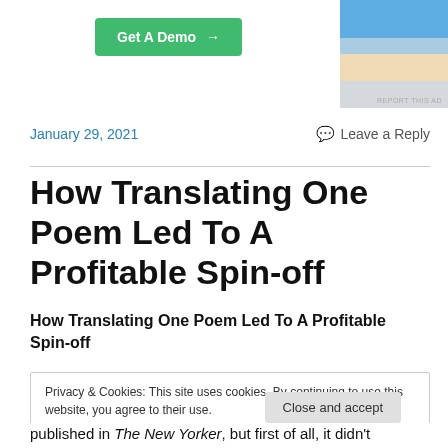[Figure (screenshot): Green 'Get A Demo →' button on left, photo of person on right with 'REPORT THIS AD' text below]
January 29, 2021
💬 Leave a Reply
How Translating One Poem Led To A Profitable Spin-off
How Translating One Poem Led To A Profitable Spin-off
Privacy & Cookies: This site uses cookies. By continuing to use this website, you agree to their use.
To find out more, including how to control cookies, see here: Cookie Policy
published in The New Yorker, but first of all, it didn't